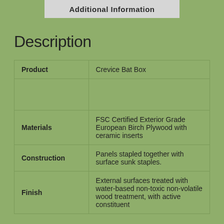Additional Information
Description
| Product | Crevice Bat Box |
|  |  |
| Materials | FSC Certified Exterior Grade European Birch Plywood with ceramic inserts |
| Construction | Panels stapled together with surface sunk staples. |
| Finish | External surfaces treated with water-based non-toxic non-volatile wood treatment, with active constituent |